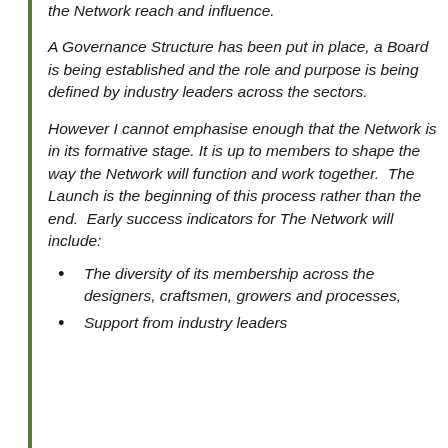the Network reach and influence.
A Governance Structure has been put in place, a Board is being established and the role and purpose is being defined by industry leaders across the sectors.
However I cannot emphasise enough that the Network is in its formative stage. It is up to members to shape the way the Network will function and work together.  The Launch is the beginning of this process rather than the end.  Early success indicators for The Network will include:
The diversity of its membership across the designers, craftsmen, growers and processes,
Support from industry leaders